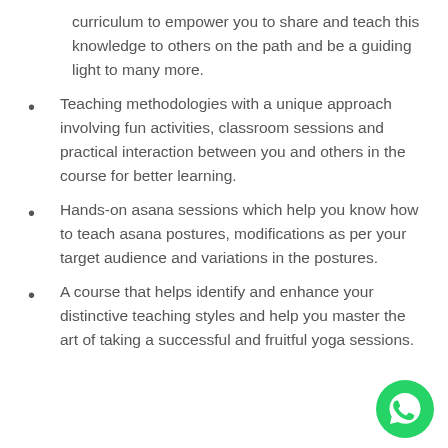curriculum to empower you to share and teach this knowledge to others on the path and be a guiding light to many more.
Teaching methodologies with a unique approach involving fun activities, classroom sessions and practical interaction between you and others in the course for better learning.
Hands-on asana sessions which help you know how to teach asana postures, modifications as per your target audience and variations in the postures.
A course that helps identify and enhance your distinctive teaching styles and help you master the art of taking a successful and fruitful yoga sessions.
[Figure (logo): WhatsApp chat button icon — green circle with white phone handset]